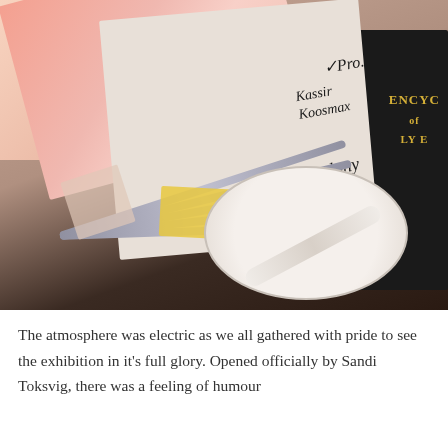[Figure (photo): Photograph of a hand holding open a fan of books with pink and white covers and striped spines. Signatures are visible on the white page inside. A black book with partial text 'ENCYC' in gold is visible on the right. A white pen and a decorative plate with illustration are on the dark table surface.]
The atmosphere was electric as we all gathered with pride to see the exhibition in it's full glory. Opened officially by Sandi Toksvig, there was a feeling of humour